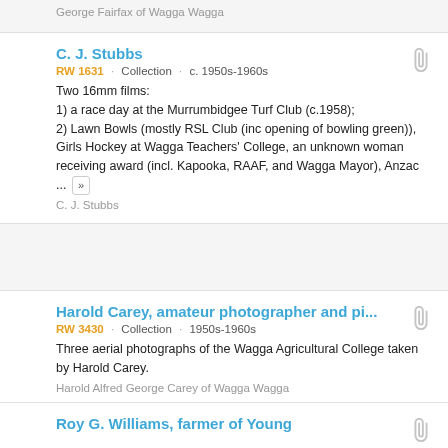George Fairfax of Wagga Wagga
C. J. Stubbs
RW 1631 · Collection · c. 1950s-1960s
Two 16mm films:
1) a race day at the Murrumbidgee Turf Club (c.1958);
2) Lawn Bowls (mostly RSL Club (inc opening of bowling green)), Girls Hockey at Wagga Teachers' College, an unknown woman receiving award (incl. Kapooka, RAAF, and Wagga Mayor), Anzac ... »
C. J. Stubbs
Harold Carey, amateur photographer and pi...
RW 3430 · Collection · 1950s-1960s
Three aerial photographs of the Wagga Agricultural College taken by Harold Carey.
Harold Alfred George Carey of Wagga Wagga
Roy G. Williams, farmer of Young